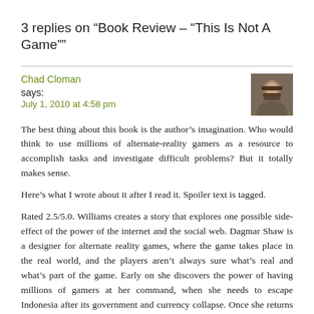3 replies on “Book Review – “This Is Not A Game””
Chad Cloman says:
July 1, 2010 at 4:58 pm
The best thing about this book is the author’s imagination. Who would think to use millions of alternate-reality gamers as a resource to accomplish tasks and investigate difficult problems? But it totally makes sense.
Here’s what I wrote about it after I read it. Spoiler text is tagged.
Rated 2.5/5.0. Williams creates a story that explores one possible side-effect of the power of the internet and the social web. Dagmar Shaw is a designer for alternate reality games, where the game takes place in the real world, and the players aren’t always sure what’s real and what’s part of the game. Early on she discovers the power of having millions of gamers at her command, when she needs to escape Indonesia after its government and currency collapse. Once she returns to the United States, someone begins killing her friends and business associates. It’s up to Dagmar and her legion of gamers to find the